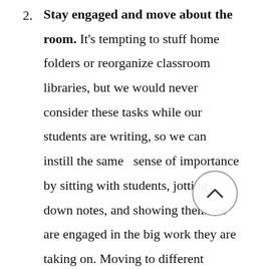2. Stay engaged and move about the room. It's tempting to stuff home folders or reorganize classroom libraries, but we would never consider these tasks while our students are writing, so we can instill the same  sense of importance by sitting with students, jotting down notes, and showing them we are engaged in the big work they are taking on. Moving to different around the room will help kids feel comfortable and safe, and of course,